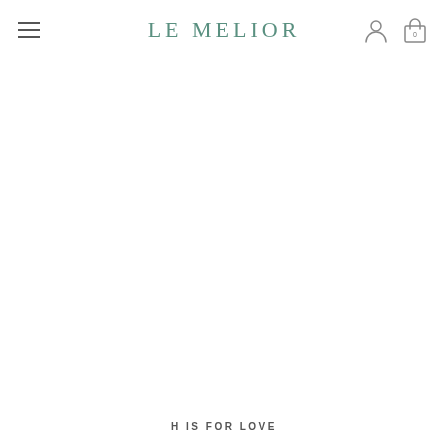LE MELIOR
[Figure (photo): Large white/blank content area below navigation header — product or lifestyle image area, appears blank or white in the screenshot]
H IS FOR LOVE